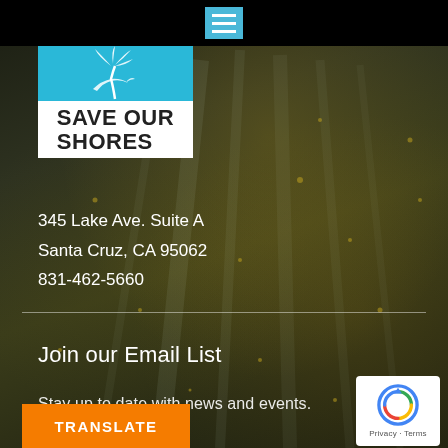[Figure (screenshot): Navigation menu hamburger button in blue on black bar at top center]
[Figure (logo): Save Our Shores logo - blue top with palm tree/dolphin icon, white bottom with bold text SAVE OUR SHORES]
345 Lake Ave. Suite A
Santa Cruz, CA 95062
831-462-5660
Join our Email List
Stay up to date with news and events.
TRANSLATE
[Figure (logo): Google reCAPTCHA badge with Privacy and Terms links]